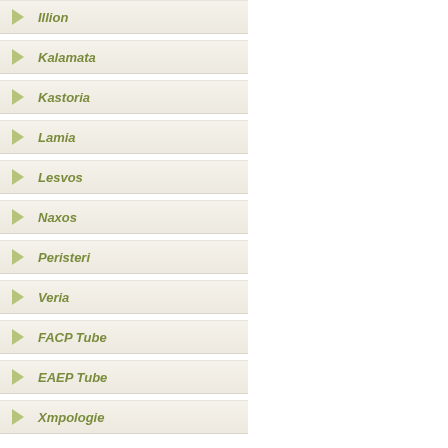Illion
Kalamata
Kastoria
Lamia
Lesvos
Naxos
Peristeri
Veria
FACP Tube
EAEP Tube
Xmpologie
Bietigheim, G
Duesseldorf,
Agia Paraske